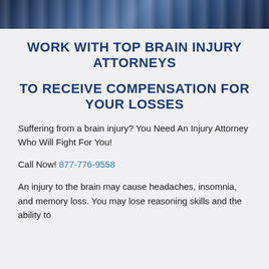[Figure (photo): Partial photo banner at top of page showing people, likely legal professionals or accident scene, cropped to a narrow strip]
WORK WITH TOP BRAIN INJURY ATTORNEYS
TO RECEIVE COMPENSATION FOR YOUR LOSSES
Suffering from a brain injury? You Need An Injury Attorney Who Will Fight For You!
Call Now! 877-776-9558
An injury to the brain may cause headaches, insomnia, and memory loss. You may lose reasoning skills and the ability to